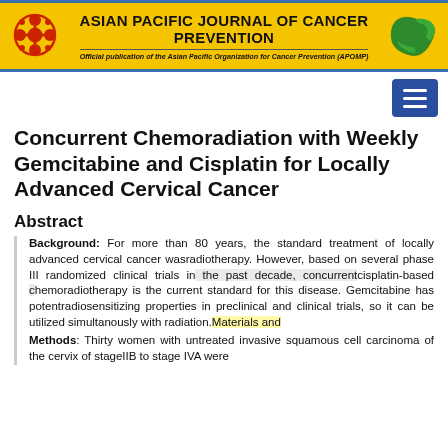ASIAN PACIFIC JOURNAL OF CANCER PREVENTION — Official publication of the Asian Pacific Organization for Cancer Prevention (APOMP)
Concurrent Chemoradiation with Weekly Gemcitabine and Cisplatin for Locally Advanced Cervical Cancer
Abstract
Background: For more than 80 years, the standard treatment of locally advanced cervical cancer wasradiotherapy. However, based on several phase III randomized clinical trials in the past decade, concurrentcisplatin-based chemoradiotherapy is the current standard for this disease. Gemcitabine has potentradiosensitizing properties in preclinical and clinical trials, so it can be utilized simultanously with radiation.Materials and Methods: Thirty women with untreated invasive squamous cell carcinoma of the cervix of stageIIB to stage IVA were